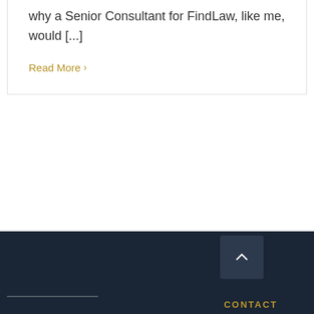why a Senior Consultant for FindLaw, like me, would [...]
Read More >
CONTACT